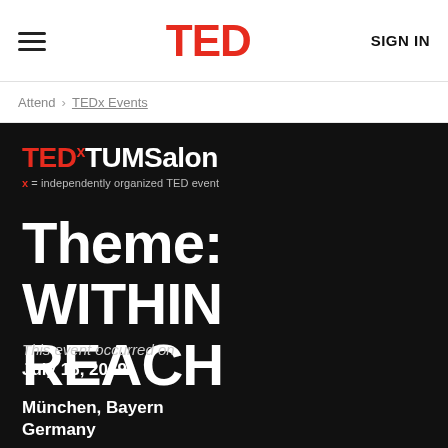TED | SIGN IN
Attend › TEDx Events
TEDxTUMSalon
x = independently organized TED event
Theme: WITHIN REACH
This event occurred on
July 16, 2019
München, Bayern Germany